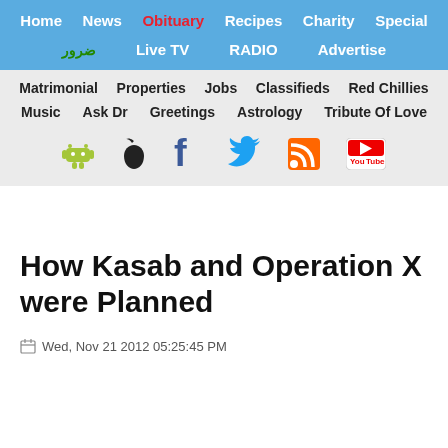Home | News | Obituary | Recipes | Charity | Special | [Urdu] | Live TV | RADIO | Advertise
Matrimonial | Properties | Jobs | Classifieds | Red Chillies | Music | Ask Dr | Greetings | Astrology | Tribute Of Love
How Kasab and Operation X were Planned
Wed, Nov 21 2012 05:25:45 PM